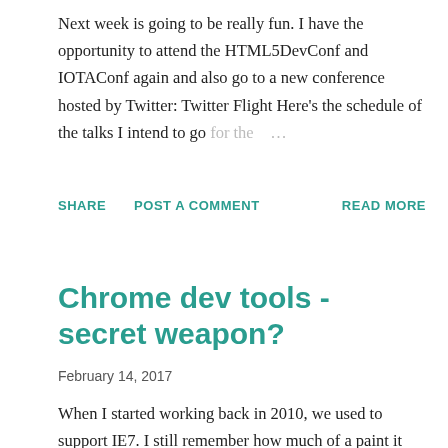Next week is going to be really fun. I have the opportunity to attend the HTML5DevConf and IOTAConf again and also go to a new conference hosted by Twitter: Twitter Flight Here's the schedule of the talks I intend to go for the ...
SHARE   POST A COMMENT   READ MORE
Chrome dev tools - secret weapon?
February 14, 2017
When I started working back in 2010, we used to support IE7. I still remember how much of a paint it was to debug javascript code. With IE8/IE9 debuggers, what I learned is